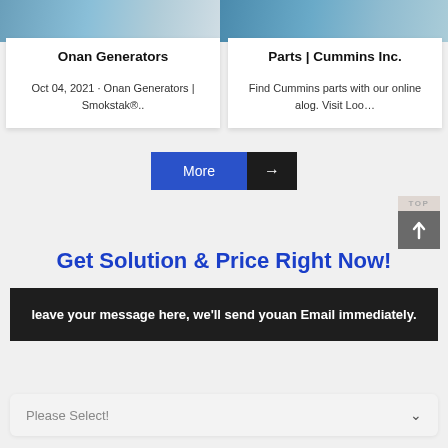[Figure (photo): Two side-by-side photos: left shows industrial/engineering equipment (Onan Generators context), right shows parts or machinery (Cummins Inc. context)]
Onan Generators
Oct 04, 2021 · Onan Generators | Smokstak®..
Parts | Cummins Inc.
Find Cummins parts with our online alog. Visit Loo…
More →
Get Solution & Price Right Now!
leave your message here, we'll send youan Email immediately.
Please Select!